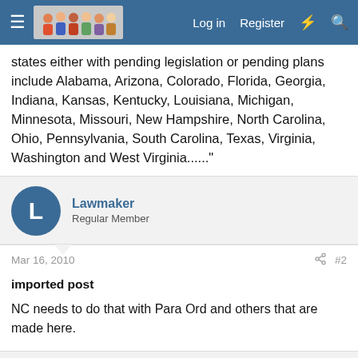Log in  Register
states either with pending legislation or pending plans include Alabama, Arizona, Colorado, Florida, Georgia, Indiana, Kansas, Kentucky, Louisiana, Michigan, Minnesota, Missouri, New Hampshire, North Carolina, Ohio, Pennsylvania, South Carolina, Texas, Virginia, Washington and West Virginia......"
Lawmaker
Regular Member
Mar 16, 2010  #2
imported post

NC needs to do that with Para Ord and others that are made here.
Dreamer
Regular Member